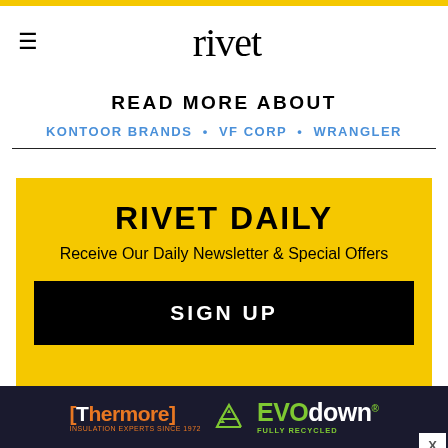rivet
READ MORE ABOUT
KONTOOR BRANDS • VF CORP • WRANGLER
RIVET DAILY
Receive Our Daily Newsletter & Special Offers
SIGN UP
[Figure (other): Thermore and EVOdown advertisement banner with recycling icon on dark navy background]